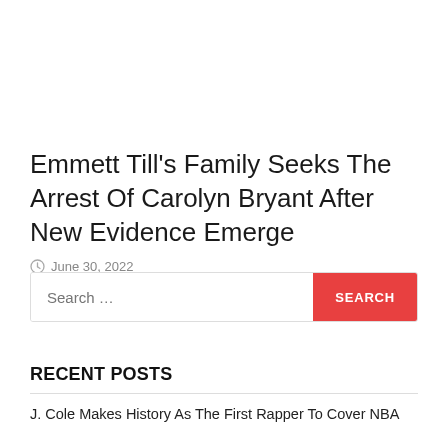Emmett Till's Family Seeks The Arrest Of Carolyn Bryant After New Evidence Emerge
June 30, 2022
Search …
RECENT POSTS
J. Cole Makes History As The First Rapper To Cover NBA